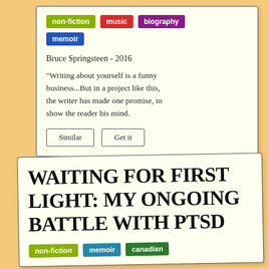non-fiction
music
biography
memoir
Bruce Springsteen - 2016
"Writing about yourself is a funny business...But in a project like this, the writer has made one promise, to show the reader his mind.
Similar
Get it
Waiting for First Light: My Ongoing Battle with PTSD
non-fiction
memoir
canadian